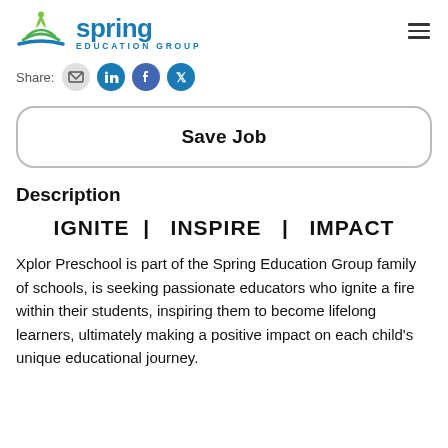Spring Education Group
Share:
Save Job
Description
IGNITE  |  INSPIRE  |  IMPACT
Xplor Preschool is part of the Spring Education Group family of schools, is seeking passionate educators who ignite a fire within their students, inspiring them to become lifelong learners, ultimately making a positive impact on each child's unique educational journey.